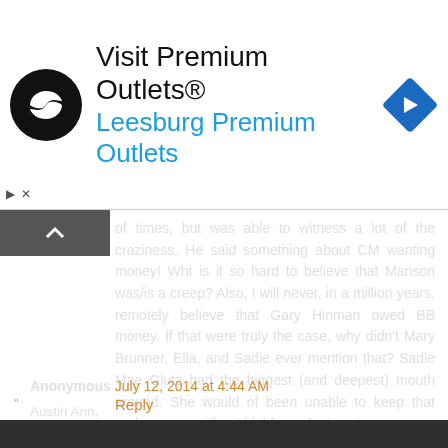[Figure (other): Advertisement banner for Visit Premium Outlets® - Leesburg Premium Outlets, with a black circular logo with infinity-like symbol on left, blue diamond turn sign icon on right, and controls (play/close buttons) at bottom left.]
of times, but was able to witness a lot of the craziness. He said something about CM wanting money! Wht is it so hard to believe that Manson was/is a creep? Also, I will never, in a million years, remotely believe that Gary Hinman owed BB money. If that were truly the case, why didn't Mary Brunner, Ella, and Sadie ever mention that? Sadie Mae Glutz had the biggest (and deepest) mouth around. She would of been unable to keep that under wraps without blabbing. Just saying.....
Reply
Anonymous July 12, 2014 at 4:44 AM
Austin Ann,
I agree with you in all respects here. I dare say GH was a dealer in the past, but there is no evidence physical